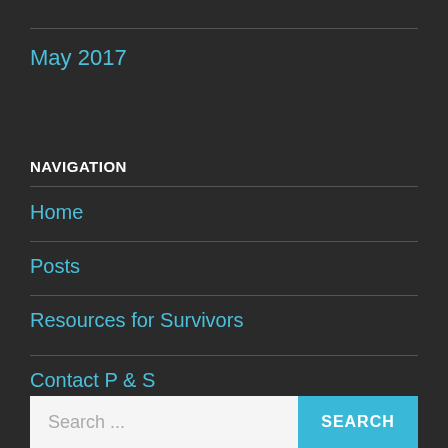May 2017
NAVIGATION
Home
Posts
Resources for Survivors
Contact P & S
Search ...